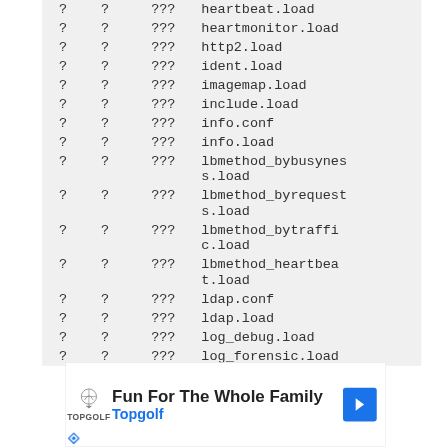| ? | ? | ??? | filename |
| --- | --- | --- | --- |
| ? | ? | ??? | heartbeat.load |
| ? | ? | ??? | heartmonitor.load |
| ? | ? | ??? | http2.load |
| ? | ? | ??? | ident.load |
| ? | ? | ??? | imagemap.load |
| ? | ? | ??? | include.load |
| ? | ? | ??? | info.conf |
| ? | ? | ??? | info.load |
| ? | ? | ??? | lbmethod_bybusyness.load |
| ? | ? | ??? | lbmethod_byrequests.load |
| ? | ? | ??? | lbmethod_bytraffic.load |
| ? | ? | ??? | lbmethod_heartbeat.load |
| ? | ? | ??? | ldap.conf |
| ? | ? | ??? | ldap.load |
| ? | ? | ??? | log_debug.load |
[Figure (other): Topgolf advertisement banner: 'Fun For The Whole Family' with Topgolf logo and blue navigation arrow icon]